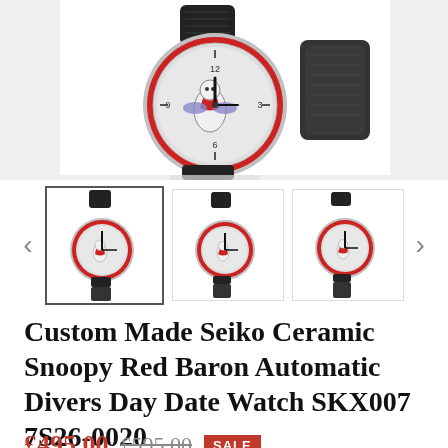[Figure (photo): Close-up photo of a custom Seiko watch with red ceramic bezel and black rubber strap on a display stand, white background]
[Figure (photo): Three thumbnail images of the same custom Seiko watch with red bezel and black strap, shown from slightly different angles]
Custom Made Seiko Ceramic Snoopy Red Baron Automatic Divers Day Date Watch SKX007 7S26-0020
£495.00 £595.00 SALE